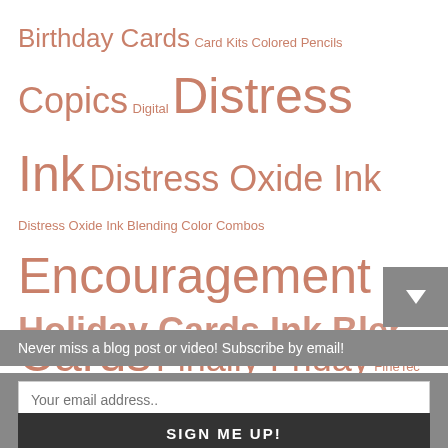Birthday Cards Card Kits Colored Pencils Copics Digital Distress Ink Distress Oxide Ink Distress Oxide Ink Blending Color Combos Encouragement Cards Finally Friday FineTec Friend Cards Halloween Cards HCS 2009 HCS 2010 HCS 2011 HCS 2012 HCS 2013 HCS 2014 HCS 2015 HCS 2017 HCS 2018 HCS 2019 HCS 2020 HCS 2021 Holiday Cards Ink Blending Lettering Live Chat...
Never miss a blog post or video! Subscribe by email!
Your email address..
SIGN ME UP!